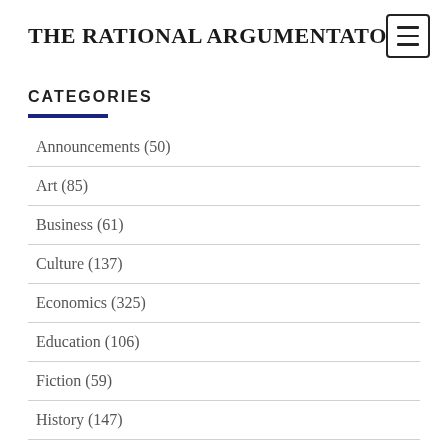THE RATIONAL ARGUMENTATOR
CATEGORIES
Announcements (50)
Art (85)
Business (61)
Culture (137)
Economics (325)
Education (106)
Fiction (59)
History (147)
Justice (64)